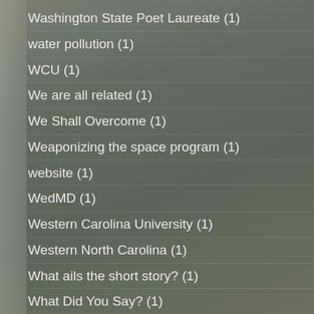Washington State Poet Laureate (1)
water pollution (1)
WCU (1)
We are all related (1)
We Shall Overcome (1)
Weaponizing the space program (1)
website (1)
WedMD (1)
Western Carolina University (1)
Western North Carolina (1)
What ails the short story? (1)
What Did You Say? (1)
What do you Want? (1)
what I like about horses (1)
what to include in a bio (1)
what to leave out (1)
what to write about (1)
When Last on the Mountain (1)
when the Sap Rises (1)